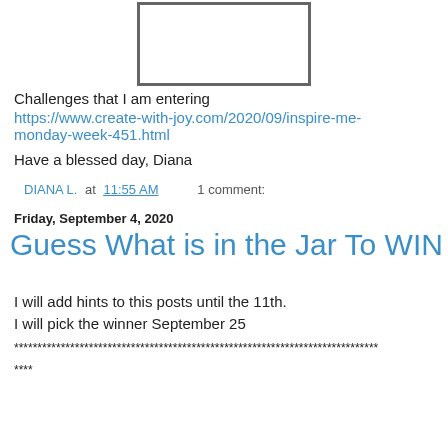[Figure (other): Empty white rectangle with gray border, representing a placeholder image]
Challenges that I am entering
https://www.create-with-joy.com/2020/09/inspire-me-monday-week-451.html
Have a blessed day, Diana
DIANA L. at 11:55 AM   1 comment:
Friday, September 4, 2020
Guess What is in the Jar To WIN
I will add hints to this posts until the 11th.
I will pick the winner September 25
******************************************************************************
****